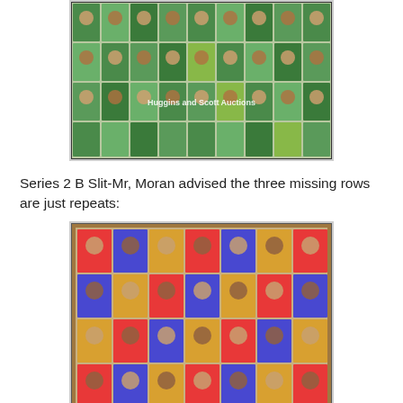[Figure (photo): Sheet of vintage basketball trading cards (Series 2, colorful cards arranged in rows), with 'Huggins and Scott Auctions' watermark overlay]
Series 2 B Slit-Mr, Moran advised the three missing rows are just repeats:
[Figure (photo): Another uncut sheet of vintage basketball trading cards arranged in rows and columns on a wooden surface, showing colorful player portraits]